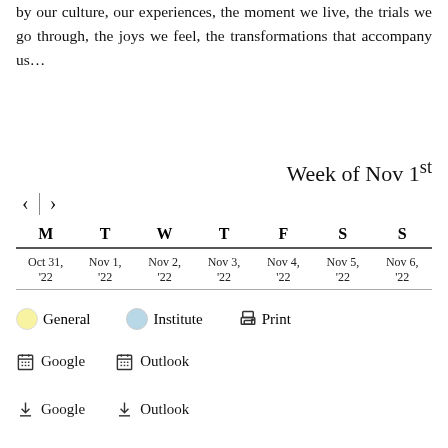by our culture, our experiences, the moment we live, the trials we go through, the joys we feel, the transformations that accompany us…
Week of Nov 1st
[Figure (other): Weekly calendar navigation with < > arrows and a vertical divider]
| M | T | W | T | F | S | S |
| --- | --- | --- | --- | --- | --- | --- |
| Oct 31, '22 | Nov 1, '22 | Nov 2, '22 | Nov 3, '22 | Nov 4, '22 | Nov 5, '22 | Nov 6, '22 |
● General   ● Institute   🖨 Print
📅 Google   📅 Outlook
⬇ Google   ⬇ Outlook